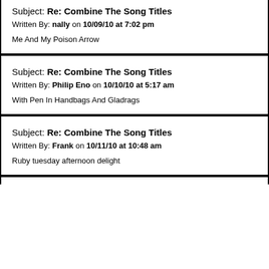Subject: Re: Combine The Song Titles
Written By: nally on 10/09/10 at 7:02 pm

Me And My Poison Arrow
Subject: Re: Combine The Song Titles
Written By: Philip Eno on 10/10/10 at 5:17 am

With Pen In Handbags And Gladrags
Subject: Re: Combine The Song Titles
Written By: Frank on 10/11/10 at 10:48 am

Ruby tuesday afternoon delight